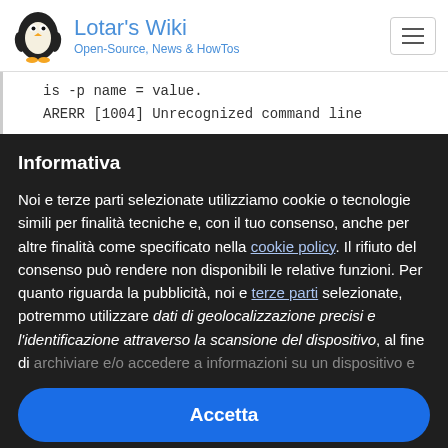Lotar's Wiki — Open-Source, News & HowTos
is -p name = value.
ARERR [1004] Unrecognized command line
Informativa
Noi e terze parti selezionate utilizziamo cookie o tecnologie simili per finalità tecniche e, con il tuo consenso, anche per altre finalità come specificato nella cookie policy. Il rifiuto del consenso può rendere non disponibili le relative funzioni. Per quanto riguarda la pubblicità, noi e terze parti selezionate, potremmo utilizzare dati di geolocalizzazione precisi e l'identificazione attraverso la scansione del dispositivo, al fine di archiviare e/o accedere a informazioni su un dispositivo e
Accetta
Scopri di più e personalizza